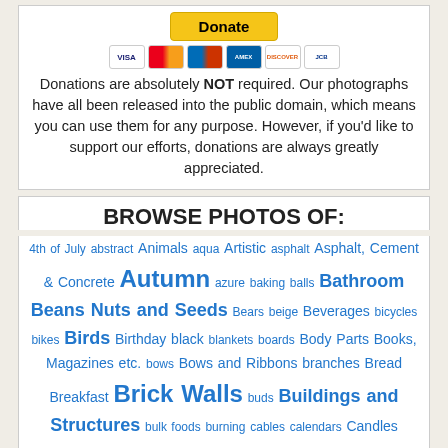[Figure (other): Donate button with PayPal styling]
[Figure (other): Credit card icons: VISA, Mastercard, Maestro, American Express, Discover, JCB]
Donations are absolutely NOT required. Our photographs have all been released into the public domain, which means you can use them for any purpose. However, if you'd like to support our efforts, donations are always greatly appreciated.
BROWSE PHOTOS OF:
4th of July abstract Animals aqua Artistic asphalt Asphalt, Cement & Concrete Autumn azure baking balls Bathroom Beans Nuts and Seeds Bears beige Beverages bicycles bikes Birds Birthday black blankets boards Body Parts Books, Magazines etc. bows Bows and Ribbons branches Bread Breakfast Brick Walls buds Buildings and Structures bulk foods burning cables calendars Candles Candy canvas cardboard Carpet and Rugs cars cat fur Cats cellular shades cement Christmas Christmas lights Christmas trees Cloth Clothes and Laundry coins Colorado colorful Computers and Electronics concrete Containers cookies cooking Cosmetics and Personal Care countertops Cows crabapples cream curtains cute dark darkness decorations denim Desserts diamonds dictionary Dishes, Glassware & Silverware Dogs dots drawing drops Easter eggs electricity Elephants